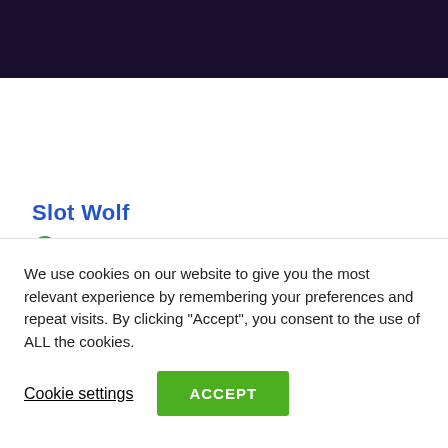[Figure (illustration): Dark navy/purple banner background at top of page]
Slot Wolf
PLAY NOW
[Figure (illustration): Dark green rounded rectangle image block, partially visible]
We use cookies on our website to give you the most relevant experience by remembering your preferences and repeat visits. By clicking “Accept”, you consent to the use of ALL the cookies.
Cookie settings
ACCEPT